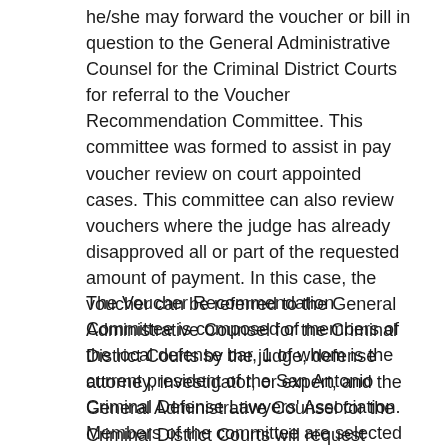he/she may forward the voucher or bill in question to the General Administrative Counsel for the Criminal District Courts for referral to the Voucher Recommendation Committee. This committee was formed to assist in pay voucher review on court appointed cases. This committee can also review vouchers where the judge has already disapproved all or part of the requested amount of payment. In this case, the voucher can be referred to the General Administrative Counsel for the Criminal District Courts by the judge, defense attorney, investigator, or expert, and the General Administrative Counsel for the Criminal District Courts will request review by the Voucher Recommendation Committee.
The Voucher Recommendation Committee is composed of members of the local defense bar, 1 of whom is the current president of the San Antonio Criminal Defense Lawyers' Association. Members of the committee are selected by the current president, and their names are submitted for approval by a majority vote of the Criminal District Court Judges. Members serve 2 year terms. The committee has